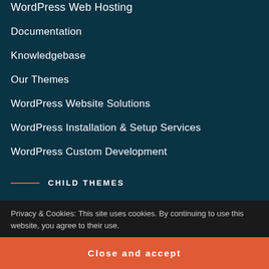WordPress Web Hosting
Documentation
Knowledgebase
Our Themes
WordPress Website Solutions
WordPress Installation & Setup Services
WordPress Custom Development
CHILD THEMES
Business Intuition
Privacy & Cookies: This site uses cookies. By continuing to use this website, you agree to their use.
Close and accept